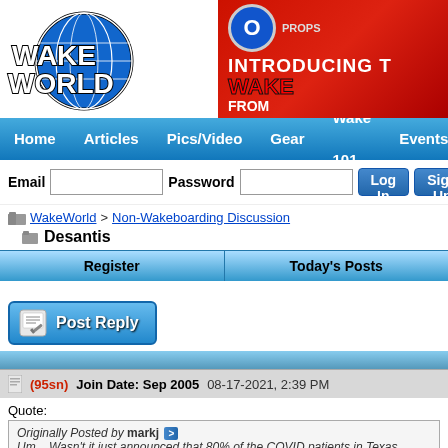[Figure (logo): WakeWorld logo with globe graphic and blue/white text]
[Figure (banner): Red banner reading INTRODUCING T... WAKE... FROM... with O-Props logo]
Home  Articles  Pics/Video  Gear  Wake 101  Events
Email  Password  Log In  Sign Up
WakeWorld > Non-Wakeboarding Discussion
Desantis
Register  Today's Posts
[Figure (other): Post Reply button with pencil icon]
(95sn)  Join Date: Sep 2005  08-17-2021, 2:39 PM
Quote:
Originally Posted by markj  Um... Wasn't it just announced that 80% of the COVID patients in Texas hospitals were illegal a...